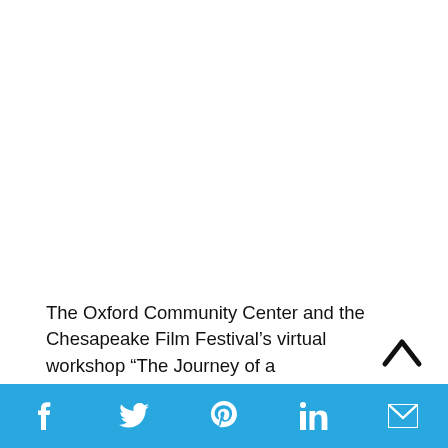The Oxford Community Center and the Chesapeake Film Festival’s virtual workshop “The Journey of a
[Figure (other): Social media share bar with icons for Facebook, Twitter, Pinterest, LinkedIn, and Email on a blue background, plus an upward chevron arrow button]